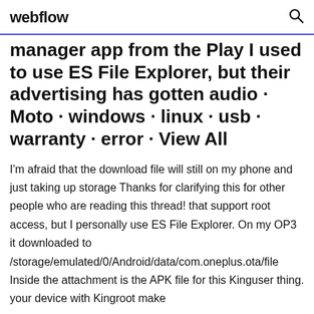webflow
manager app from the Play I used to use ES File Explorer, but their advertising has gotten audio · Moto · windows · linux · usb · warranty · error · View All
I'm afraid that the download file will still on my phone and just taking up storage Thanks for clarifying this for other people who are reading this thread! that support root access, but I personally use ES File Explorer. On my OP3 it downloaded to /storage/emulated/0/Android/data/com.oneplus.ota/file Inside the attachment is the APK file for this Kinguser thing. your device with Kingroot make